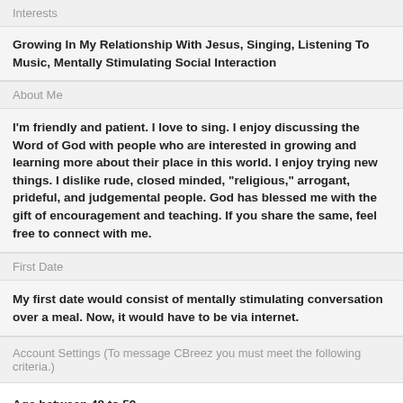Interests
Growing In My Relationship With Jesus, Singing, Listening To Music, Mentally Stimulating Social Interaction
About Me
I'm friendly and patient. I love to sing. I enjoy discussing the Word of God with people who are interested in growing and learning more about their place in this world. I enjoy trying new things. I dislike rude, closed minded, "religious," arrogant, prideful, and judgemental people. God has blessed me with the gift of encouragement and teaching. If you share the same, feel free to connect with me.
First Date
My first date would consist of mentally stimulating conversation over a meal. Now, it would have to be via internet.
Account Settings (To message CBreez you must meet the following criteria.)
Age between 48 to 59.

Must not Smoke.